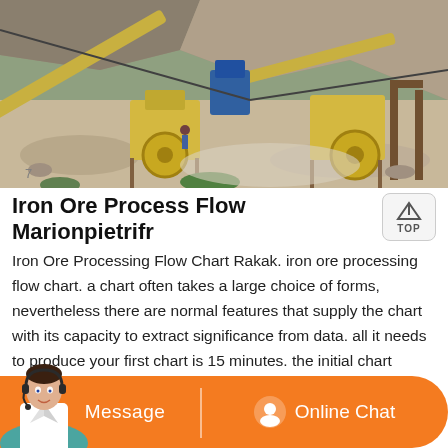[Figure (photo): Aerial view of an iron ore processing/crushing plant with conveyor belts, crushers, and industrial mining equipment on rocky terrain.]
Iron Ore Process Flow Marionpietrifr
Iron Ore Processing Flow Chart Rakak. iron ore processing flow chart. a chart often takes a large choice of forms, nevertheless there are normal features that supply the chart with its capacity to extract significance from data. all it needs to produce your first chart is 15 minutes. the initial chart indicates an excellent designer i. charts are made use of to display series of